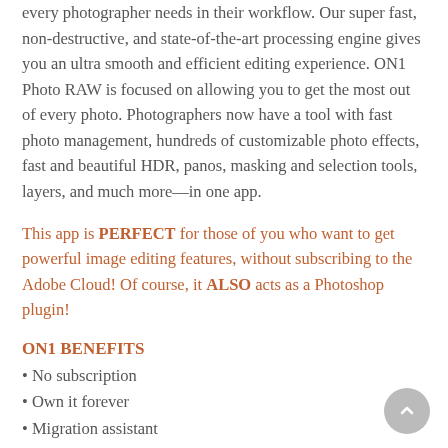every photographer needs in their workflow. Our super fast, non-destructive, and state-of-the-art processing engine gives you an ultra smooth and efficient editing experience. ON1 Photo RAW is focused on allowing you to get the most out of every photo. Photographers now have a tool with fast photo management, hundreds of customizable photo effects, fast and beautiful HDR, panos, masking and selection tools, layers, and much more—in one app.
This app is PERFECT for those of you who want to get powerful image editing features, without subscribing to the Adobe Cloud! Of course, it ALSO acts as a Photoshop plugin!
ON1 BENEFITS
• No subscription
• Own it forever
• Migration assistant
• Open cloud storage integration
• Hundreds of free training videos
• World-class service and support